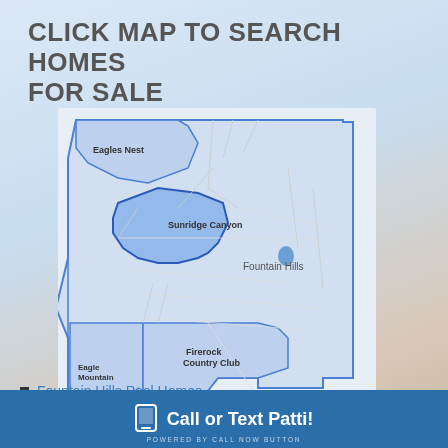CLICK MAP TO SEARCH HOMES FOR SALE
[Figure (map): Map of Fountain Hills area showing neighborhood boundaries for Eagles Nest, Sunridge Canyon, Fountain Hills, Eagle Mountain, and Firerock Country Club]
Fountain Hills Pool Homes
(partially visible)
(partially visible)
Call or Text Patti!
POWERED BY CALL NOW BUTTON